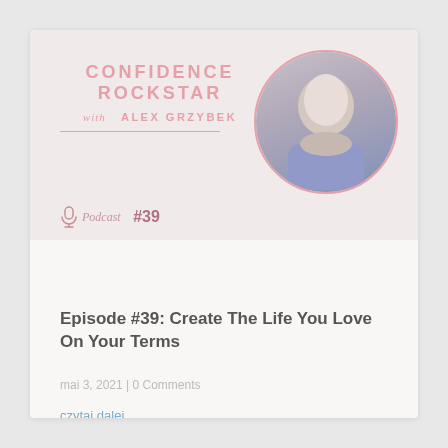[Figure (logo): Confidence Rockstar with Alex Grzybek podcast logo — pink text on light background with circular portrait of a blonde woman]
Podcast #39
"Create The Life You Love On Your Terms"
Episode #39: Create The Life You Love On Your Terms
mai 3, 2021 | 0 Comments
czytaj dalej